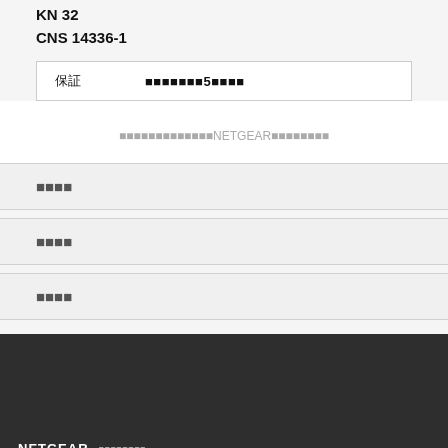KN 32
CNS 14336-1
|  |  |
| --- | --- |
| 保証 | 製品購入日から5年間です |
保証の詳細についてはNETGEARのウェブサイトをご覧ください
安全上の注意
規制情報
規制情報
NETGEAR 保証書・規制情報